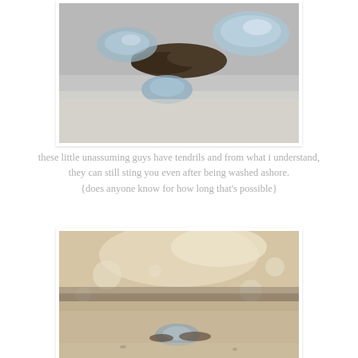[Figure (photo): Close-up photograph of bluebottle jellyfish (Portuguese man o' war) washed up on a sandy beach, with seaweed visible around them. The jellyfish appear translucent blue-silver against grey sand.]
these little unassuming guys have tendrils and from what i understand, they can still sting you even after being washed ashore. {does anyone know for how long that's possible}
[Figure (photo): Sepia-toned photograph of a beach scene with a bluebottle jellyfish washed up on the sand in the foreground, with bokeh waves and bright light in the background.]